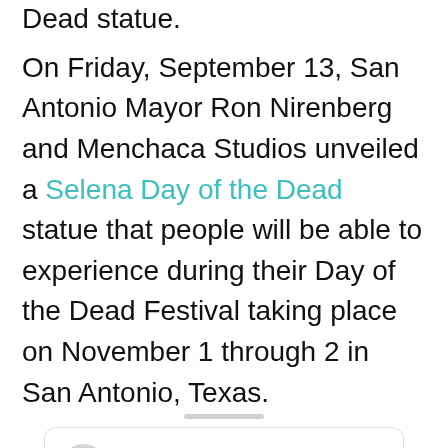Dead statue.
On Friday, September 13, San Antonio Mayor Ron Nirenberg and Menchaca Studios unveiled a Selena Day of the Dead statue that people will be able to experience during their Day of the Dead Festival taking place on November 1 through 2 in San Antonio, Texas.
[Figure (screenshot): Embedded social media card placeholder with a circular avatar, two grey loading lines for profile name/handle, and a dark circular button at the bottom center. The card has a drag handle bar at the top.]